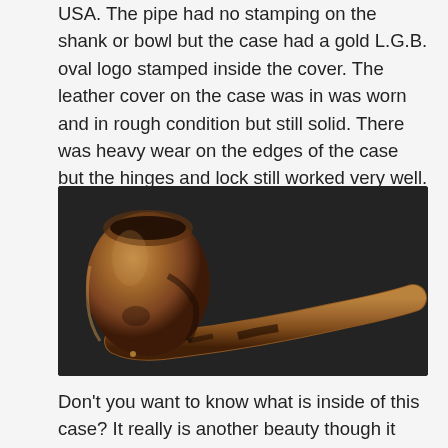USA. The pipe had no stamping on the shank or bowl but the case had a gold L.G.B. oval logo stamped inside the cover. The leather cover on the case was in was worn and in rough condition but still solid. There was heavy wear on the edges of the case but the hinges and lock still worked very well.
[Figure (photo): A worn tobacco pipe with a curved stem and bowl, displayed against a dark background. The pipe shows heavy wear with brown and dark patina coloring.]
Don't you want to know what is inside of this case? It really is another beauty though it has the marks of a hard journey. Well... I will get there. Jeff opened the case to show us what the pipe looked like inside. The lining of the case was far more worn and had a orange colour to it. It had L.G.B.